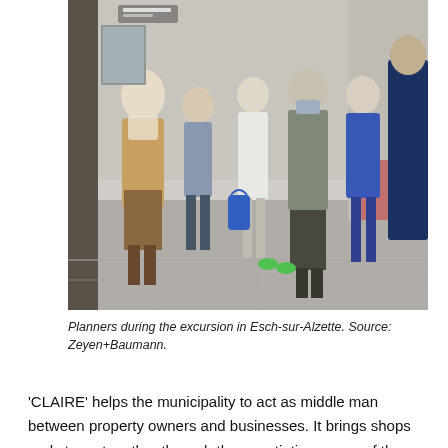[Figure (photo): Group of planners/people standing on a street in Esch-sur-Alzette during an excursion. Several people visible including a woman in a camel coat with a scarf, others in casual and business attire, urban street setting.]
Planners during the excursion in Esch-sur-Alzette. Source: Zeyen+Baumann.
'CLAIRE' helps the municipality to act as middle man between property owners and businesses. It brings shops and stores together through the negotiating power of the municipality and allows to bridge and negotiate different interests. This way the city effectively reduces the commercial vacancies. It offers proven solutions in the